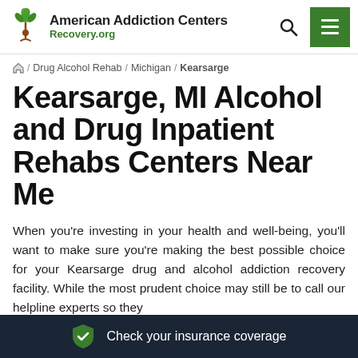American Addiction Centers Recovery.org
/ Drug Alcohol Rehab / Michigan / Kearsarge
Kearsarge, MI Alcohol and Drug Inpatient Rehabs Centers Near Me
When you’re investing in your health and well-being, you’ll want to make sure you’re making the best possible choice for your Kearsarge drug and alcohol addiction recovery facility. While the most prudent choice may still be to call our helpline experts so they
Check your insurance coverage